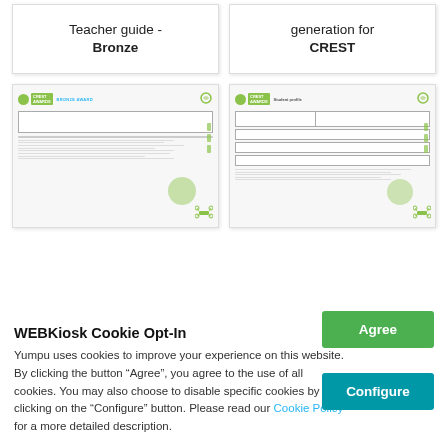Teacher guide - Bronze
generation for CREST
[Figure (screenshot): Thumbnail of CREST Awards Bronze Award teacher guide document page]
[Figure (screenshot): Thumbnail of CREST Awards student profile document page]
WEBKiosk Cookie Opt-In
Yumpu uses cookies to improve your experience on this website. By clicking the button “Agree”, you agree to the use of all cookies. You may also choose to disable specific cookies by clicking on the “Configure” button. Please read our Cookie Policy for a more detailed description.